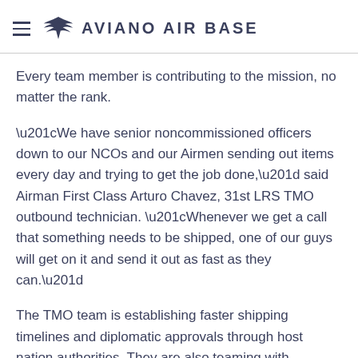AVIANO AIR BASE
Every team member is contributing to the mission, no matter the rank.
“We have senior noncommissioned officers down to our NCOs and our Airmen sending out items every day and trying to get the job done,” said Airman First Class Arturo Chavez, 31st LRS TMO outbound technician. “Whenever we get a call that something needs to be shipped, one of our guys will get on it and send it out as fast as they can.”
The TMO team is establishing faster shipping timelines and diplomatic approvals through host nation authorities. They are also teaming with USAFE-level TMO to keep communications open.